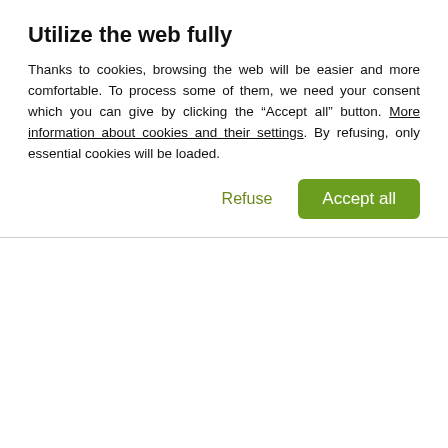Utilize the web fully
Thanks to cookies, browsing the web will be easier and more comfortable. To process some of them, we need your consent which you can give by clicking the “Accept all” button. More information about cookies and their settings. By refusing, only essential cookies will be loaded.
professor Petr Rumpel no later than 20th March 2018.
Curriculum vitae in English
List of academic publications
Copy of the doctoral diploma
For further information, please contact associate professor Petr Rumpel or Ondřej Slach.
Contact:
Doc. RNDr. Petr Rumpel, Ph.D.
e-mail petr.rumpel@osu.cz
Mgr. Ondřej Slach, Ph.D.
e-mail ondrej.slach@osu.cz